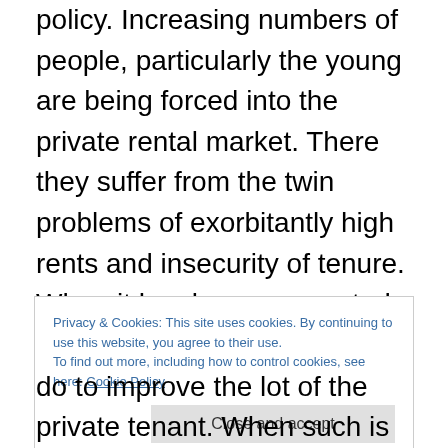policy. Increasing numbers of people, particularly the young are being forced into the private rental market. There they suffer from the twin problems of exorbitantly high rents and insecurity of tenure. When it has been suggested that the solution is to give private tenants security of tenure and to introduce rent controls, the social democratic party in this country has always rejected it as an unworkable solution. They claim that the introduction of such controls would reduce the number of properties for rent and so be against the long term interests of the private tenant. In reality a policy that did both things and
Privacy & Cookies: This site uses cookies. By continuing to use this website, you agree to their use.
To find out more, including how to control cookies, see here: Cookie Policy
do to improve the lot of the private tenant. When such is